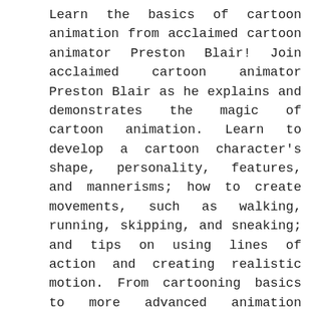Learn the basics of cartoon animation from acclaimed cartoon animator Preston Blair! Join acclaimed cartoon animator Preston Blair as he explains and demonstrates the magic of cartoon animation. Learn to develop a cartoon character's shape, personality, features, and mannerisms; how to create movements, such as walking, running, skipping, and sneaking; and tips on using lines of action and creating realistic motion. From cartooning basics to more advanced animation techniques, Animation 1 is a welcome introduction for artists ready to bring their drawings to life. Designed for beginners, the How to Draw & Paint series offers an easy-to-follow guide that introduces artists to basic tools and materials and includes simple step-by-step lessons for a variety of projects suitable for the aspiring artist. Animation 1 allows artists to widen the